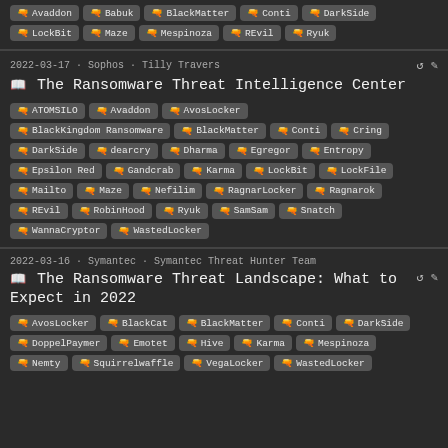Tags: Avaddon, Babuk, BlackMatter, Conti, DarkSide, LockBit, Maze, Mespinoza, REvil, Ryuk
2022-03-17 · Sophos · Tilly Travers
The Ransomware Threat Intelligence Center
Tags: ATOMSILO, Avaddon, AvosLocker, BlackKingdom Ransomware, BlackMatter, Conti, Cring, DarkSide, dearcry, Dharma, Egregor, Entropy, Epsilon Red, Gandcrab, Karma, LockBit, LockFile, Mailto, Maze, Nefilim, RagnarLocker, Ragnarok, REvil, RobinHood, Ryuk, SamSam, Snatch, WannaCryptor, WastedLocker
2022-03-16 · Symantec · Symantec Threat Hunter Team
The Ransomware Threat Landscape: What to Expect in 2022
Tags: AvosLocker, BlackCat, BlackMatter, Conti, DarkSide, DoppelPaymer, Emotet, Hive, Karma, Mespinoza, Nemty, Squirrelwaffle, VegaLocker, WastedLocker